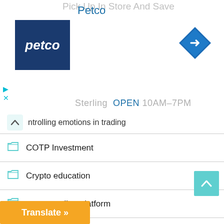[Figure (screenshot): Petco advertisement banner showing Petco logo, store name, and navigation arrow icon. Text shows 'Petco', 'Sterling OPEN 10AM-7PM'.]
ntrolling emotions in trading
COTP Investment
Crypto education
crypto trading platform
DAILY EURUSD PIVOT POINT
Daily XAUUSD Pivot levels
Deriv Broker
discipline in trading
Fxneos Broker